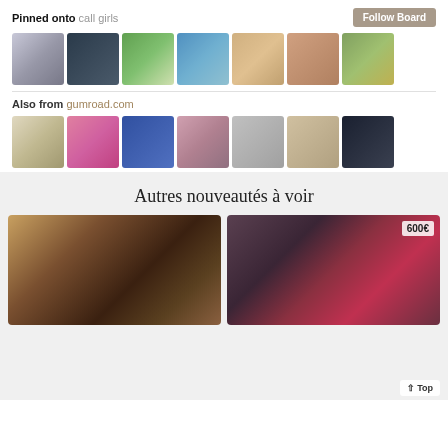Pinned onto call girls
Follow Board
[Figure (photo): Grid of 7 thumbnail photos of women in the 'Pinned onto call girls' section]
Also from gumroad.com
[Figure (photo): Grid of 7 thumbnail photos of women in the 'Also from gumroad.com' section]
Autres nouveautés à voir
[Figure (photo): Card image on the left showing a woman with bokeh background]
[Figure (photo): Card image on the right showing a woman in red dress with price badge 600€]